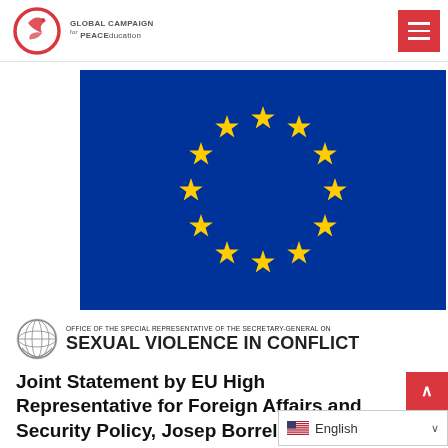Global Campaign for PEACEducation
[Figure (illustration): European Union flag — blue background with 12 gold stars arranged in a circle]
[Figure (logo): Office of the Special Representative of the Secretary-General on Sexual Violence in Conflict — UN emblem with text]
Joint Statement by EU High Representative for Foreign Affairs and Security Policy, Josep Borrell, and the Special Representative...